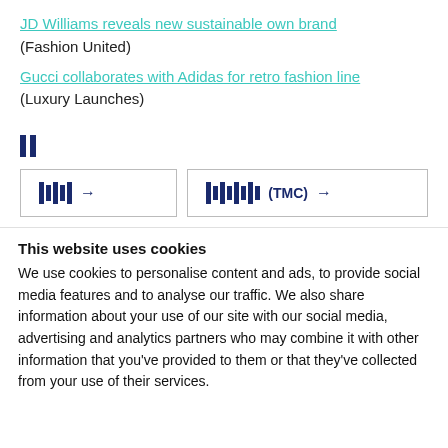JD Williams reveals new sustainable own brand (Fashion United)
Gucci collaborates with Adidas for retro fashion line (Luxury Launches)
[Figure (other): Two small dark blue vertical bar icons side by side]
[Figure (other): Two navigation buttons with barcode-style bar graphics and arrows. Left button shows bars with arrow. Right button shows bars with (TMC) label and arrow.]
This website uses cookies
We use cookies to personalise content and ads, to provide social media features and to analyse our traffic. We also share information about your use of our site with our social media, advertising and analytics partners who may combine it with other information that you've provided to them or that they've collected from your use of their services.